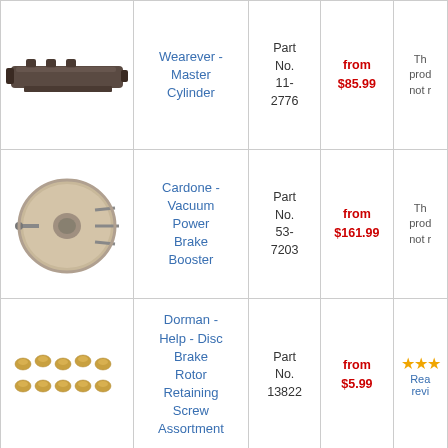| Image | Product Name | Part No. | Price | Reviews |
| --- | --- | --- | --- | --- |
| [Master Cylinder image] | Wearever - Master Cylinder | Part No. 11-2776 | from $85.99 | Th produ not r |
| [Vacuum Booster image] | Cardone - Vacuum Power Brake Booster | Part No. 53-7203 | from $161.99 | Th produ not r |
| [Screws image] | Dorman - Help - Disc Brake Rotor Retaining Screw Assortment | Part No. 13822 | from $5.99 | ★★★ Rea revi |